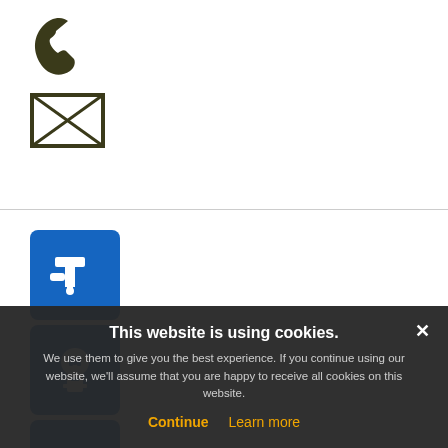[Figure (illustration): Phone/telephone handset icon in dark olive/brown color]
[Figure (illustration): Email/envelope icon in dark olive/brown color with X lines]
[Figure (illustration): Blue square icon with white water faucet/tap symbol]
[Figure (illustration): Blue square icon with white electrical outlet/plug symbol]
[Figure (illustration): Blue square icon with white dog silhouette]
[Figure (illustration): Blue square icon with white RV/camper van on rails]
[Figure (illustration): Blue square icon with white toilet/water closet on rails]
[Figure (illustration): Dark square icon with white person/hiker figure]
[Figure (illustration): Dark green square icon with white bicycle]
This website is using cookies.
We use them to give you the best experience. If you continue using our website, we'll assume that you are happy to receive all cookies on this website.
Continue
Learn more